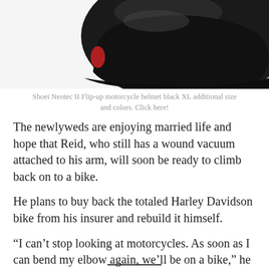[Figure (photo): Top portion of a black Shoei Neotec II Flip-up motorcycle helmet against a white background.]
Shoei Neotec II Flip-up motorcycle helmet black XL additional size and colors. Click here!
The newlyweds are enjoying married life and hope that Reid, who still has a wound vacuum attached to his arm, will soon be ready to climb back on to a bike.
He plans to buy back the totaled Harley Davidson bike from his insurer and rebuild it himself.
“I can’t stop looking at motorcycles. As soon as I can bend my elbow again, we’ll be on a bike,” he claimed.
“He’s the only person who can scare me and make me feel safe at the same time,” Hemenes said. “When we’re riding together, it feels intimate.